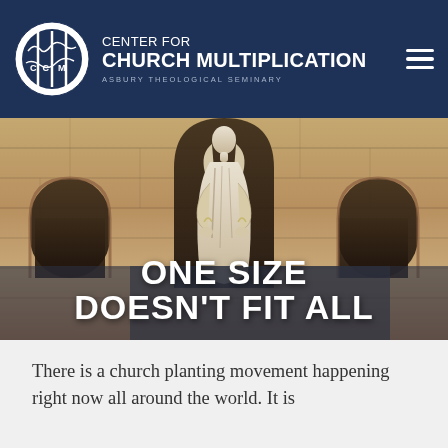CENTER FOR CHURCH MULTIPLICATION — ASBURY THEOLOGICAL SEMINARY
[Figure (photo): Photo of a stone church building facade with gothic arch niches and a white marble statue in the center niche, viewed from below]
ONE SIZE DOESN'T FIT ALL
There is a church planting movement happening right now all around the world. It is